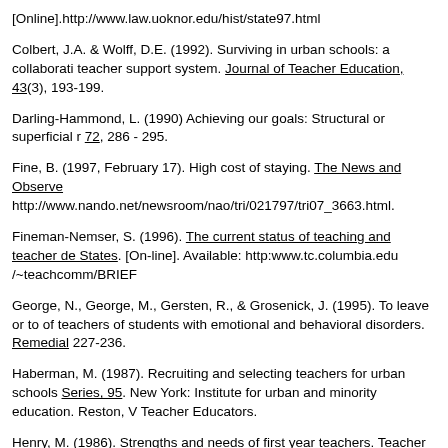[Online].http://www.law.uoknor.edu/hist/state97.html
Colbert, J.A. & Wolff, D.E. (1992). Surviving in urban schools: a collaborative teacher support system. Journal of Teacher Education, 43(3), 193-199.
Darling-Hammond, L. (1990) Achieving our goals: Structural or superficial reforms? 72, 286 - 295.
Fine, B. (1997, February 17). High cost of staying. The News and Observer. http://www.nando.net/newsroom/nao/tri/021797/tri07_3663.html.
Fineman-Nemser, S. (1996). The current status of teaching and teacher development in the United States. [On-line]. Available: http:www.tc.columbia.edu /~teachcomm/BRIEF
George, N., George, M., Gersten, R., & Grosenick, J. (1995). To leave or to stay? An exploratory study of teachers of students with emotional and behavioral disorders. Remedial and Special Education, 227-236.
Haberman, M. (1987). Recruiting and selecting teachers for urban schools. ERIC/CUE Urban Diversity Series, 95. New York: Institute for urban and minority education. Reston, VA: Association of Teacher Educators.
Henry, M. (1986). Strengths and needs of first year teachers. Teacher Education
Heyns, B. (1988). Educational defectors: A first look at teacher attrition in the NLS-72. Educational Researcher, 17(3), 24-32.